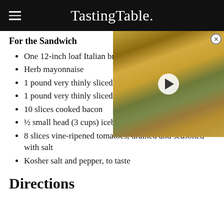TastingTable.
For the Sandwich
One 12-inch loaf Italian br
Herb mayonnaise
1 pound very thinly sliced
1 pound very thinly sliced
[Figure (photo): Video thumbnail showing grilled sausages, roasted potato wedges, and mushrooms with a play button overlay]
10 slices cooked bacon
½ small head (3 cups) iceberg lettuce, shredded
8 slices vine-ripened tomatoes, drained and seasoned with salt
Kosher salt and pepper, to taste
Directions